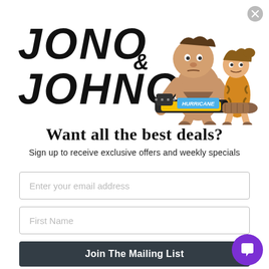[Figure (illustration): Jono & Johno logo with cartoon caveman holding a Hurricane chainsaw and a cavewoman in tiger-print outfit standing beside him. Bold italic text reads JONO & JOHNO.]
Want all the best deals?
Sign up to receive exclusive offers and weekly specials
Enter your email address
First Name
Join The Mailing List